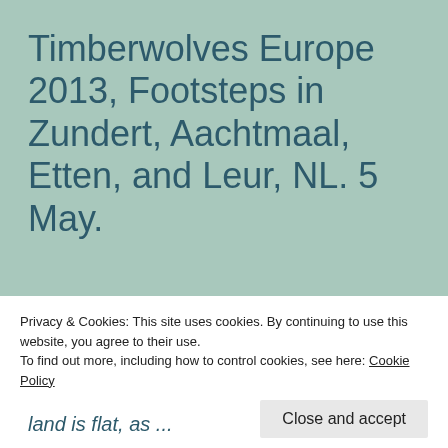Timberwolves Europe 2013, Footsteps in Zundert, Aachtmaal, Etten, and Leur, NL. 5 May.
[Categories: TRAVEL, PHOTOGRAPHY, EUROPE, WWII] (See previous posts for what this tour is about.) (As always, click on photos to
Privacy & Cookies: This site uses cookies. By continuing to use this website, you agree to their use.
To find out more, including how to control cookies, see here: Cookie Policy
Close and accept
land is flat, as ...